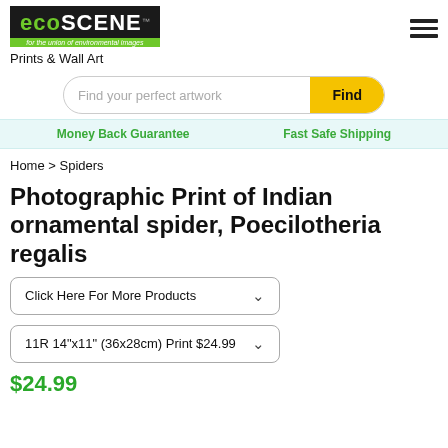[Figure (logo): ecoSCENE logo with green text on black background and green tagline strip]
Prints & Wall Art
Find your perfect artwork
Money Back Guarantee    Fast Safe Shipping
Home > Spiders
Photographic Print of Indian ornamental spider, Poecilotheria regalis
Click Here For More Products
11R 14"x11" (36x28cm) Print $24.99
$24.99